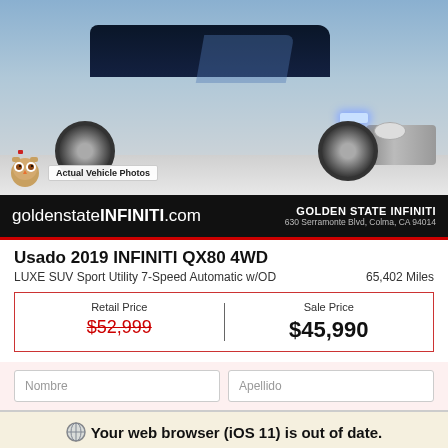[Figure (photo): Blue Infiniti QX80 SUV front/side view with chrome grille and wheels on grey background. 'Actual Vehicle Photos' badge visible with owl mascot icon.]
goldenstateINFINITI.com
GOLDEN STATE INFINITI
630 Serramonte Blvd, Colma, CA 94014
Usado 2019 INFINITI QX80 4WD
LUXE SUV Sport Utility 7-Speed Automatic w/OD	65,402 Miles
| Retail Price | Sale Price |
| --- | --- |
| $52,999 | $45,990 |
Nombre	Apellido
Your web browser (iOS 11) is out of date. Update your browser for more security, speed and the best experience on this site.
Update browser	Ignore